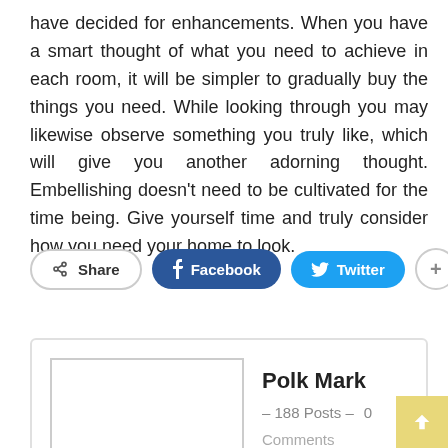have decided for enhancements. When you have a smart thought of what you need to achieve in each room, it will be simpler to gradually buy the things you need. While looking through you may likewise observe something you truly like, which will give you another adorning thought. Embellishing doesn't need to be cultivated for the time being. Give yourself time and truly consider how you need your home to look.
[Figure (screenshot): Social share buttons: Share, Facebook, Twitter, and a plus button]
Polk Mark – 188 Posts – 0 Comments